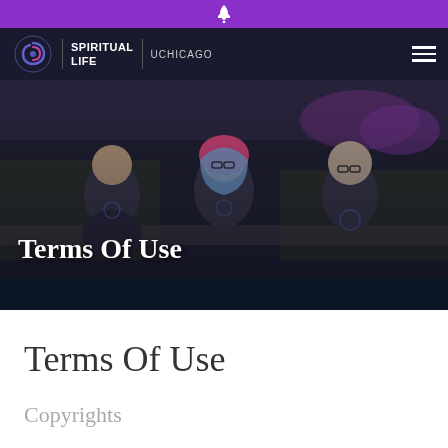🔔
[Figure (logo): Spiritual Life UChicago logo — circular swirl icon followed by text 'SPIRITUAL LIFE | UCHICAGO']
[Figure (photo): Three students wearing Spiritual Life UChicago t-shirts sitting outdoors among plants and flowers, smiling]
Terms Of Use
Terms Of Use
Copyrights